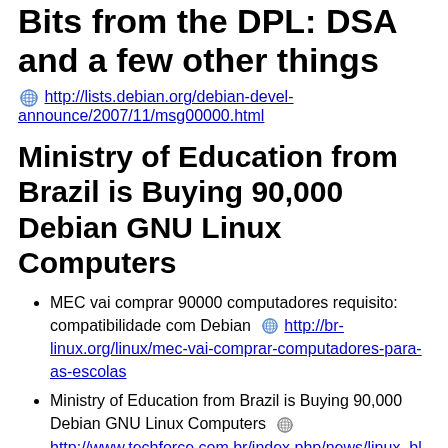Bits from the DPL: DSA and a few other things
http://lists.debian.org/debian-devel-announce/2007/11/msg00000.html
Ministry of Education from Brazil is Buying 90,000 Debian GNU Linux Computers
MEC vai comprar 90000 computadores requisito: compatibilidade com Debian  http://br-linux.org/linux/mec-vai-comprar-computadores-para-as-escolas
Ministry of Education from Brazil is Buying 90,000 Debian GNU Linux Computers  http://www.techforce.com.br/index.php/news/linux_bl
Ministry of Education from Brazil is Buying 90,000